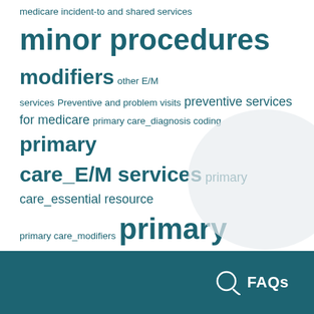medicare incident-to and shared services minor procedures modifiers other E/M services Preventive and problem visits preventive services for medicare primary care_diagnosis coding primary care_E/M services primary care_essential resource primary care_modifiers primary care_other E/M services primary care_preventive services primary care_procedures remote physiologic monitoring screening and counseling for behavioral conditions teaching physician rules telehealth
[Figure (illustration): Light grey decorative circle shape in bottom-right background area]
FAQs